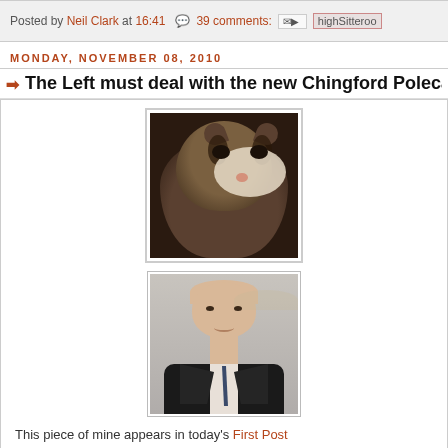Posted by Neil Clark at 16:41   39 comments:   [email button]   [share button]
MONDAY, NOVEMBER 08, 2010
The Left must deal with the new Chingford Polecat
[Figure (photo): Close-up photo of a polecat/ferret facing the camera, dark brown and cream coloring]
[Figure (photo): Photo of a bald middle-aged man in a dark suit smiling slightly]
This piece of mine appears in today's First Post